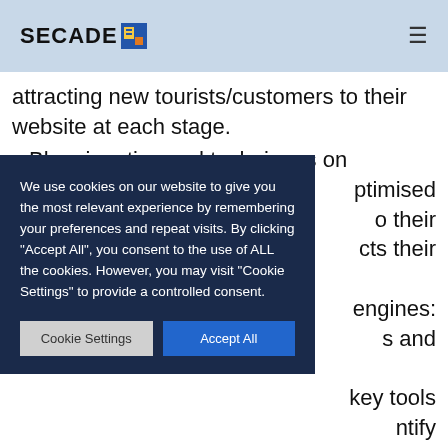SECADE
attracting new tourists/customers to their website at each stage.
Blogging: tips and techniques on how to write SEO optimised blog posts that appeal to their target audience and attracts their readers.
SEO and Search Engines: understanding key tools and techniques and how to identify ...
We use cookies on our website to give you the most relevant experience by remembering your preferences and repeat visits. By clicking "Accept All", you consent to the use of ALL the cookies. However, you may visit "Cookie Settings" to provide a controlled consent.